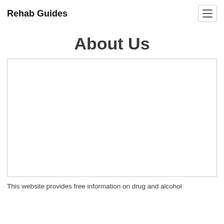Rehab Guides
About Us
[Figure (other): Empty white image placeholder box with light gray border]
This website provides free information on drug and alcohol